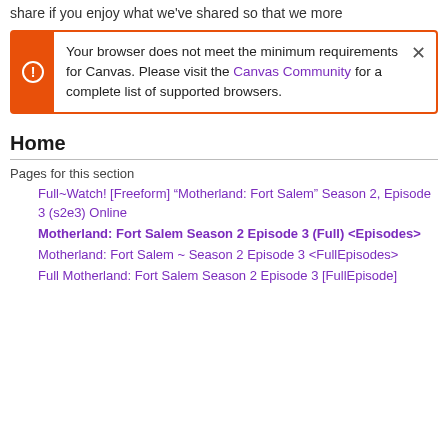share if you enjoy what we've shared so that we more
Your browser does not meet the minimum requirements for Canvas. Please visit the Canvas Community for a complete list of supported browsers.
Home
Pages for this section
Full~Watch! [Freeform] “Motherland: Fort Salem” Season 2, Episode 3 (s2e3) Online
Motherland: Fort Salem Season 2 Episode 3 (Full) <Episodes>
Motherland: Fort Salem ~ Season 2 Episode 3 <FullEpisodes>
Full Motherland: Fort Salem Season 2 Episode 3 [FullEpisode]